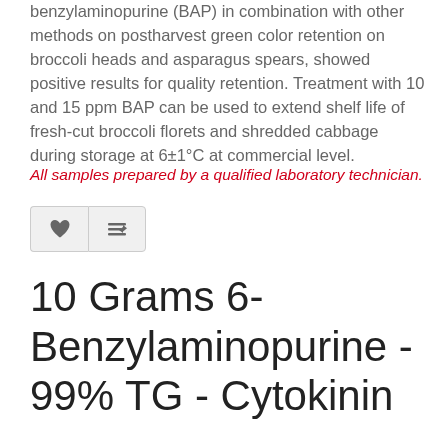benzylaminopurine (BAP) in combination with other methods on postharvest green color retention on broccoli heads and asparagus spears, showed positive results for quality retention. Treatment with 10 and 15 ppm BAP can be used to extend shelf life of fresh-cut broccoli florets and shredded cabbage during storage at 6±1°C at commercial level.
All samples prepared by a qualified laboratory technician.
10 Grams 6-Benzylaminopurine - 99% TG - Cytokinin
Brand: Archon Gnosis
Product Code: 1
Availability: In Stock
$7.55